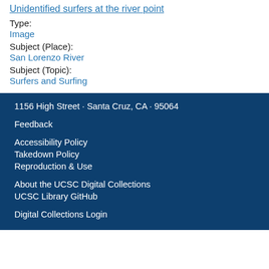Unidentified surfers at the river point
Type:
Image
Subject (Place):
San Lorenzo River
Subject (Topic):
Surfers and Surfing
1156 High Street · Santa Cruz, CA · 95064
Feedback
Accessibility Policy
Takedown Policy
Reproduction & Use
About the UCSC Digital Collections
UCSC Library GitHub
Digital Collections Login